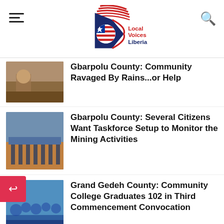Local Voices Liberia
Gbarpolu County: Community Ravaged By Rains...or Help
Gbarpolu County: Several Citizens Want Taskforce Setup to Monitor the Mining Activities
Grand Gedeh County: Community College Graduates 102 in Third Commencement Convocation
Gbarpolu County: DEO, Parents Considering US$25 Fine for Parents Who Fail To Keep Pupils In School
Grand Gedeh County: Man, 25, Arrested